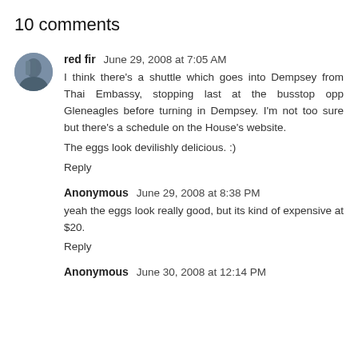10 comments
red fir  June 29, 2008 at 7:05 AM
I think there's a shuttle which goes into Dempsey from Thai Embassy, stopping last at the busstop opp Gleneagles before turning in Dempsey. I'm not too sure but there's a schedule on the House's website.

The eggs look devilishly delicious. :)
Reply
Anonymous  June 29, 2008 at 8:38 PM
yeah the eggs look really good, but its kind of expensive at $20.
Reply
Anonymous  June 30, 2008 at 12:14 PM